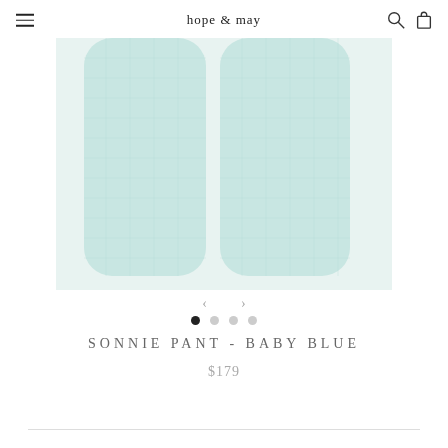hope & may
[Figure (photo): Close-up photo of wide-leg baby blue textured pants (Sonnie Pant) showing both legs with a waffle/grid fabric texture]
< >
● ○ ○ ○
SONNIE PANT - BABY BLUE
$179